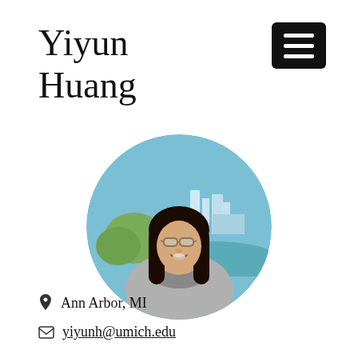Yiyun Huang
[Figure (photo): Circular cropped photo of Yiyun Huang, a young woman with long dark hair, glasses, smiling outdoors with a city skyline and water in the background on a clear day.]
📍 Ann Arbor, MI
✉ yiyunh@umich.edu